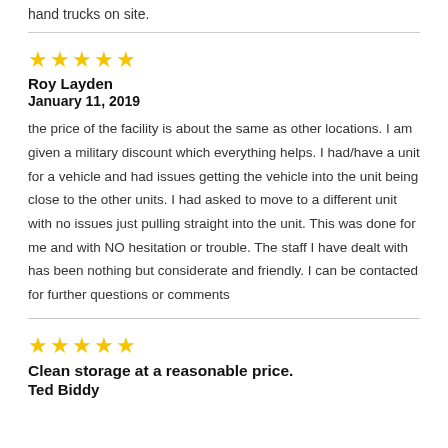hand trucks on site.
★★★★★
Roy Layden
January 11, 2019
the price of the facility is about the same as other locations. I am given a military discount which everything helps. I had/have a unit for a vehicle and had issues getting the vehicle into the unit being close to the other units. I had asked to move to a different unit with no issues just pulling straight into the unit. This was done for me and with NO hesitation or trouble. The staff I have dealt with has been nothing but considerate and friendly. I can be contacted for further questions or comments
★★★★★
Clean storage at a reasonable price.
Ted Biddy